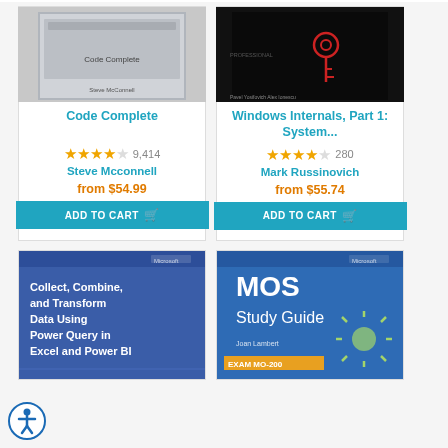[Figure (illustration): Book product card for 'Code Complete' by Steve Mcconnell, showing book cover image, star rating 3.5/5 with 9,414 reviews, price from $54.99, and Add to Cart button]
[Figure (illustration): Book product card for 'Windows Internals, Part 1: System...' by Mark Russinovich, showing book cover (dark with red key), star rating 4.5/5 with 280 reviews, price from $55.74, and Add to Cart button]
[Figure (illustration): Book product card for 'Collect, Combine, and Transform Data Using Power Query in Excel and Power BI' - Microsoft Press book with blue cover, partially visible]
[Figure (illustration): Book product card for 'MOS Study Guide EXAM MO-200' - Microsoft Press book with blue/green cover, partially visible]